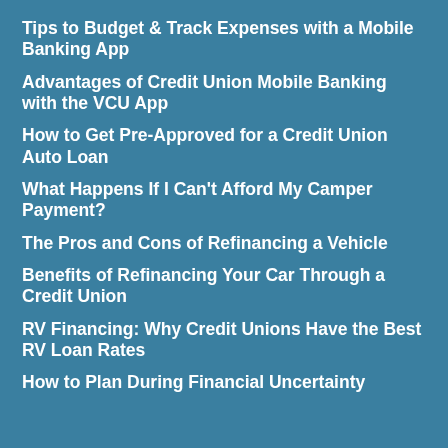Tips to Budget & Track Expenses with a Mobile Banking App
Advantages of Credit Union Mobile Banking with the VCU App
How to Get Pre-Approved for a Credit Union Auto Loan
What Happens If I Can't Afford My Camper Payment?
The Pros and Cons of Refinancing a Vehicle
Benefits of Refinancing Your Car Through a Credit Union
RV Financing: Why Credit Unions Have the Best RV Loan Rates
How to Plan During Financial Uncertainty